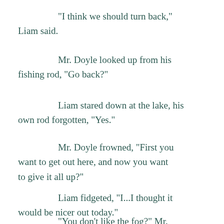“I think we should turn back,” Liam said.
Mr. Doyle looked up from his fishing rod, “Go back?”
Liam stared down at the lake, his own rod forgotten, “Yes.”
Mr. Doyle frowned, “First you want to get out here, and now you want to give it all up?”
Liam fidgeted, “I...I thought it would be nicer out today.”
“You don’t like the fog?” Mr.